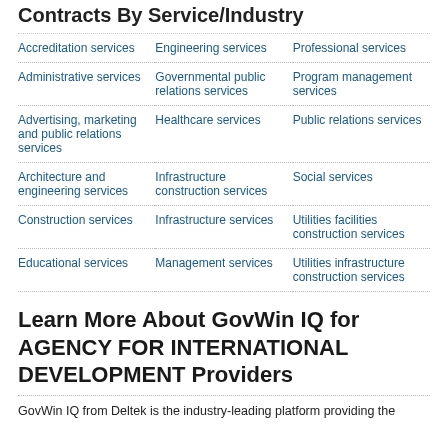Contracts By Service/Industry
| Col1 | Col2 | Col3 |
| --- | --- | --- |
| Accreditation services | Engineering services | Professional services |
| Administrative services | Governmental public relations services | Program management services |
| Advertising, marketing and public relations services | Healthcare services | Public relations services |
| Architecture and engineering services | Infrastructure construction services | Social services |
| Construction services | Infrastructure services | Utilities facilities construction services |
| Educational services | Management services | Utilities infrastructure construction services |
Learn More About GovWin IQ for AGENCY FOR INTERNATIONAL DEVELOPMENT Providers
GovWin IQ from Deltek is the industry-leading platform providing the